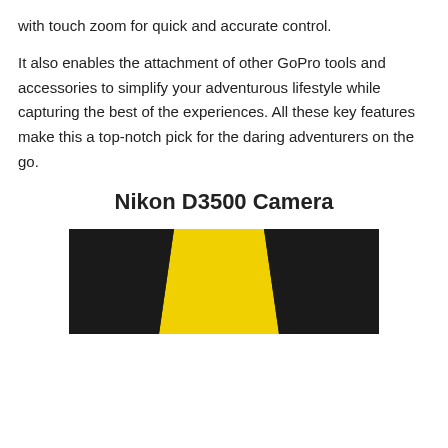with touch zoom for quick and accurate control.
It also enables the attachment of other GoPro tools and accessories to simplify your adventurous lifestyle while capturing the best of the experiences. All these key features make this a top-notch pick for the daring adventurers on the go.
Nikon D3500 Camera
[Figure (photo): Black and yellow diagonal stripe image, likely a product or promotional graphic associated with Nikon D3500 Camera section.]